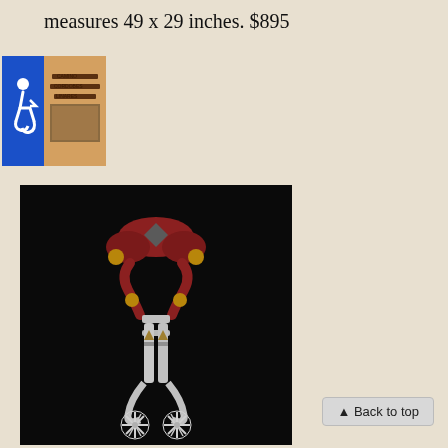measures 49 x 29 inches. $895
[Figure (photo): Small thumbnail image showing a book cover or poster with text 'CAMINO CORDOBES LINARES' and a blue accessibility icon overlay on the left side.]
[Figure (photo): A pair of ornate cowboy spurs with star-shaped rowels, leather straps with brass conchos, and silver-decorated shank, photographed against a black background.]
▲ Back to top